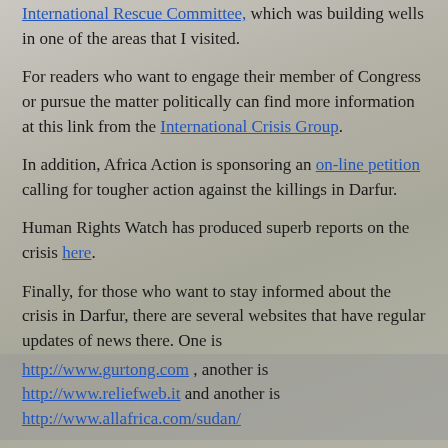International Rescue Committee, which was building wells in one of the areas that I visited.
For readers who want to engage their member of Congress or pursue the matter politically can find more information at this link from the International Crisis Group.
In addition, Africa Action is sponsoring an on-line petition calling for tougher action against the killings in Darfur.
Human Rights Watch has produced superb reports on the crisis here.
Finally, for those who want to stay informed about the crisis in Darfur, there are several websites that have regular updates of news there. One is http://www.gurtong.com , another is http://www.reliefweb.it and another is http://www.allafrica.com/sudan/
This is just a small sampling of what's out there. Most big aid groups, including all the major faith-based